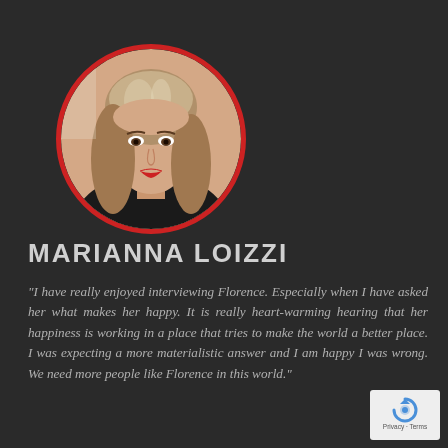[Figure (photo): Circular portrait photo of Marianna Loizzi, a woman with long light-brown hair, wearing dark clothing, with a red circular border frame]
MARIANNA LOIZZI
“I have really enjoyed interviewing Florence. Especially when I have asked her what makes her happy. It is really heart-warming hearing that her happiness is working in a place that tries to make the world a better place. I was expecting a more materialistic answer and I am happy I was wrong. We need more people like Florence in this world.”
[Figure (logo): Google reCAPTCHA badge with Privacy and Terms links]